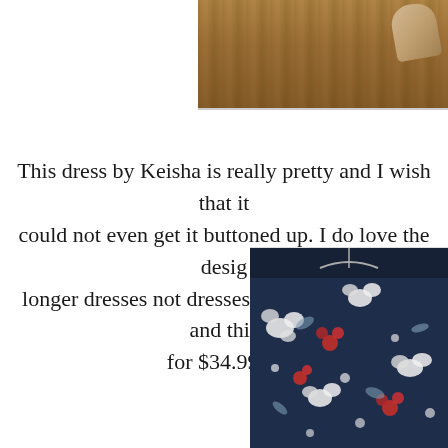[Figure (photo): Partial photo showing a wooden floor surface with a shoe visible in the upper right corner, cropped at the top of the page]
This dress by Keisha is really pretty and I wish that it could not even get it buttoned up. I do love the design. longer dresses not dresses that are really short and this for $34.99 to
[Figure (photo): A dark navy blue floral dress with white and red flowers, displayed on a hanger against a light grey background]